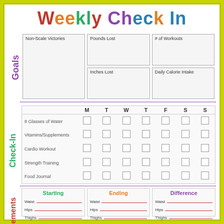Weekly Check In
Goals
| Pounds Lost | # of Workouts | Non-Scale Victories | Inches Lost | Daily Calorie Intake |  |
| --- | --- | --- | --- | --- | --- |
Check-In
|  | M | T | W | T | F | S | S |
| --- | --- | --- | --- | --- | --- | --- | --- |
| 8 Glasses of Water | ☐ | ☐ | ☐ | ☐ | ☐ | ☐ | ☐ |
| Vitamins/Supplements | ☐ | ☐ | ☐ | ☐ | ☐ | ☐ | ☐ |
| Cardio Workout | ☐ | ☐ | ☐ | ☐ | ☐ | ☐ | ☐ |
| Strength Training | ☐ | ☐ | ☐ | ☐ | ☐ | ☐ | ☐ |
| Food Journal | ☐ | ☐ | ☐ | ☐ | ☐ | ☐ | ☐ |
Measurements
| Starting | Ending | Difference |
| --- | --- | --- |
| Waist ___ | Waist ___ | Waist ___ |
| Hips ___ | Hips ___ | Hips ___ |
| Thighs ___ | Thighs ___ | Thighs ___ |